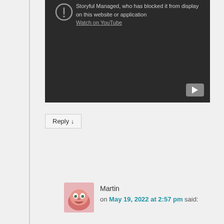[Figure (screenshot): Embedded YouTube video player showing a blocked video error message: 'Storyful Managed, who has blocked it from display on this website or application' with a 'Watch on YouTube' link and a YouTube play button in the bottom right corner.]
Reply ↓
[Figure (photo): User avatar for commenter Martin - a cartoon pink alien/monster face icon]
Martin on May 19, 2022 at 2:57 pm said: